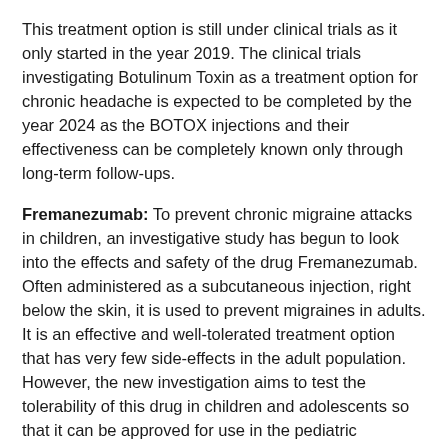This treatment option is still under clinical trials as it only started in the year 2019. The clinical trials investigating Botulinum Toxin as a treatment option for chronic headache is expected to be completed by the year 2024 as the BOTOX injections and their effectiveness can be completely known only through long-term follow-ups.
Fremanezumab: To prevent chronic migraine attacks in children, an investigative study has begun to look into the effects and safety of the drug Fremanezumab. Often administered as a subcutaneous injection, right below the skin, it is used to prevent migraines in adults. It is an effective and well-tolerated treatment option that has very few side-effects in the adult population. However, the new investigation aims to test the tolerability of this drug in children and adolescents so that it can be approved for use in the pediatric population too.